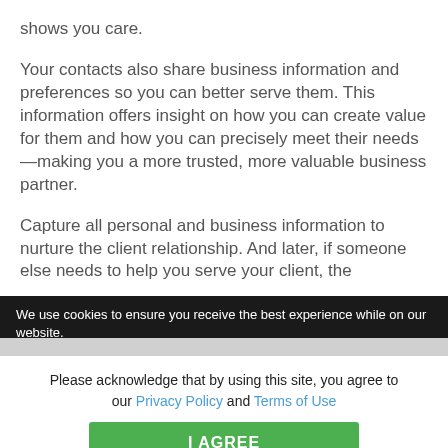shows you care.
Your contacts also share business information and preferences so you can better serve them. This information offers insight on how you can create value for them and how you can precisely meet their needs—making you a more trusted, more valuable business partner.
Capture all personal and business information to nurture the client relationship. And later, if someone else needs to help you serve your client, the
We use cookies to ensure you receive the best experience while on our website.
Please acknowledge that by using this site, you agree to our Privacy Policy and Terms of Use
I AGREE